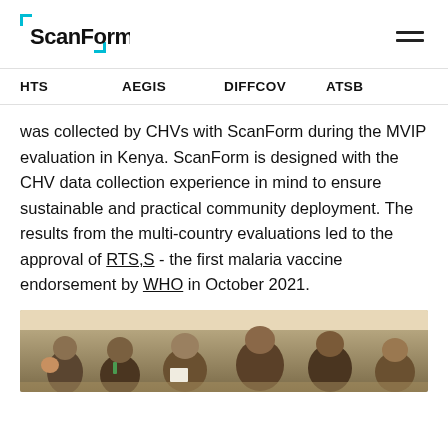ScanForm
HTS    AEGIS    DIFFCOV    ATSB
was collected by CHVs with ScanForm during the MVIP evaluation in Kenya. ScanForm is designed with the CHV data collection experience in mind to ensure sustainable and practical community deployment. The results from the multi-country evaluations led to the approval of RTS,S - the first malaria vaccine endorsement by WHO in October 2021.
[Figure (photo): Group of people seated, appearing to be in a training or meeting session, photographed from above at a slight angle.]